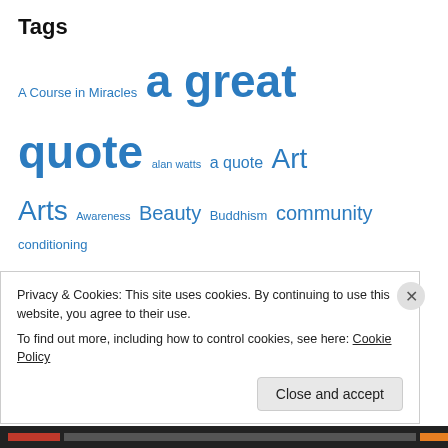Tags
A Course in Miracles  a great quote  alan watts  a quote  Art  Arts  Awareness  Beauty  Buddhism  community  conditioning  Consciousness  cowardice  creativity  depression  ego  emotion  energy  environment  faith  fate  fear  freedom  God  happiness  healing  Health  Human  human-rights  human nature  Illusion  inspiration  Joseph Campbell  joy  knowledge  krishnamurti  Life  Literature  Love  mental-health  Mind  music  now  peace  people
Privacy & Cookies: This site uses cookies. By continuing to use this website, you agree to their use.
To find out more, including how to control cookies, see here: Cookie Policy
Close and accept